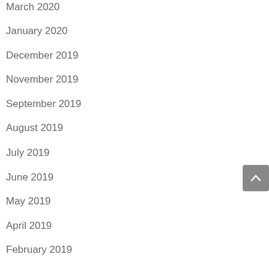March 2020
January 2020
December 2019
November 2019
September 2019
August 2019
July 2019
June 2019
May 2019
April 2019
February 2019
December 2018